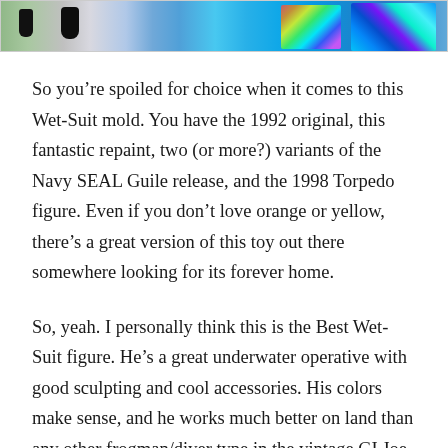[Figure (photo): Partial view of colorful toy figures and holographic/iridescent accessories, showing dark-colored pieces on left and vibrant multicolored foil/crystal pieces on right]
So you’re spoiled for choice when it comes to this Wet-Suit mold. You have the 1992 original, this fantastic repaint, two (or more?) variants of the Navy SEAL Guile release, and the 1998 Torpedo figure. Even if you don’t love orange or yellow, there’s a great version of this toy out there somewhere looking for its forever home.
So, yeah. I personally think this is the Best Wet-Suit figure. He’s a great underwater operative with good sculpting and cool accessories. His colors make sense, and he works much better on land than any other frogman/diver type in the vintage GI Joe line. For me,